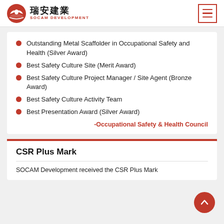瑞安建業 SOCAM DEVELOPMENT
Outstanding Metal Scaffolder in Occupational Safety and Health (Silver Award)
Best Safety Culture Site (Merit Award)
Best Safety Culture Project Manager / Site Agent (Bronze Award)
Best Safety Culture Activity Team
Best Presentation Award (Silver Award)
-Occupational Safety & Health Council
CSR Plus Mark
SOCAM Development received the CSR Plus Mark